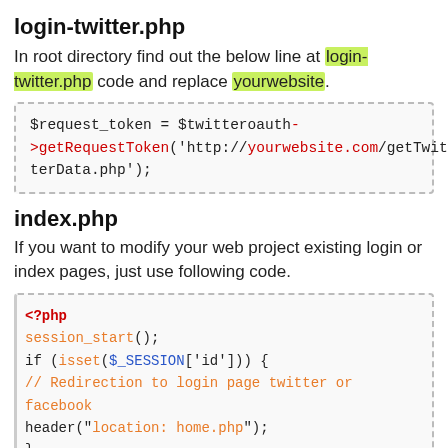login-twitter.php
In root directory find out the below line at login-twitter.php code and replace yourwebsite.
[Figure (screenshot): Code block showing: $request_token = $twitteroauth->getRequestToken('http://yourwebsite.com/getTwitterData.php');]
index.php
If you want to modify your web project existing login or index pages, just use following code.
[Figure (screenshot): Code block showing PHP code: <?php session_start(); if (isset($_SESSION['id'])) { // Redirection to login page twitter or facebook header("location: home.php"); } if (array_key_exists("login", $_GET))]